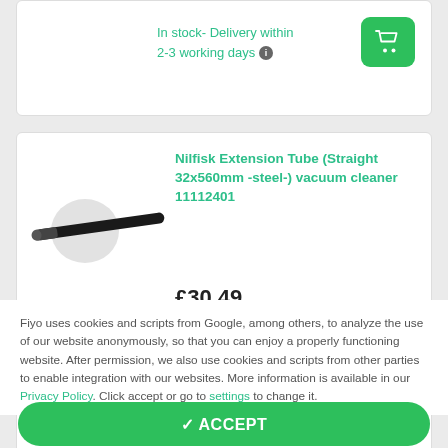In stock- Delivery within 2-3 working days
[Figure (screenshot): Product listing page from Fiyo webshop showing Nilfisk Extension Tube (Straight 32x560mm -steel-) vacuum cleaner 11112401 priced at £30.49 with in stock delivery info and add to cart button, plus cookie consent overlay]
Nilfisk Extension Tube (Straight 32x560mm -steel-) vacuum cleaner 11112401
£30.49
In stock- Delivery within 2-3 working days
Fiyo uses cookies and scripts from Google, among others, to analyze the use of our website anonymously, so that you can enjoy a properly functioning website. After permission, we also use cookies and scripts from other parties to enable integration with our websites. More information is available in our Privacy Policy. Click accept or go to settings to change it.
✓ ACCEPT